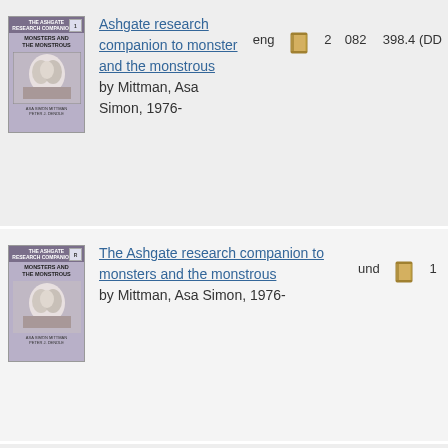[Figure (illustration): Book cover: The Ashgate Research Companion to Monsters and the Monstrous, row 1]
Ashgate research companion to monster and the monstrous by Mittman, Asa Simon, 1976-
eng 2 082 398.4 (DD
[Figure (illustration): Book cover: The Ashgate Research Companion to Monsters and the Monstrous, row 2]
The Ashgate research companion to monsters and the monstrous by Mittman, Asa Simon, 1976-
und 1
[Figure (illustration): Book cover: The Ashgate Research Companion to Monsters and the Monstrous, row 3]
The Ashgate research companion by Mittman, Asa Simon, 1976-
eng 1